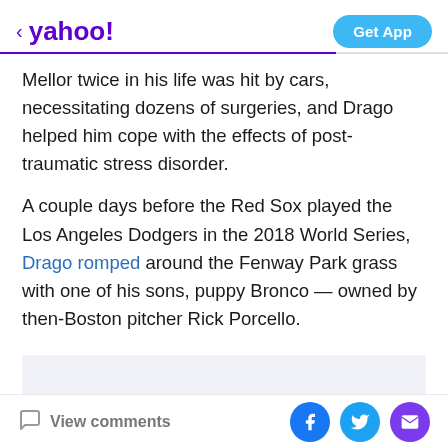< yahoo!   Get App
Mellor twice in his life was hit by cars, necessitating dozens of surgeries, and Drago helped him cope with the effects of post-traumatic stress disorder.
A couple days before the Red Sox played the Los Angeles Dodgers in the 2018 World Series, Drago romped around the Fenway Park grass with one of his sons, puppy Bronco — owned by then-Boston pitcher Rick Porcello.
[Figure (other): Advertisement placeholder box with light gray background]
View comments   [Facebook] [Twitter] [Mail]